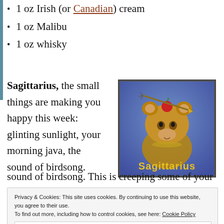1 oz Irish (or Canadian) cream
1 oz Malibu
1 oz whisky
Sagittarius, the small things are making you happy this week: glinting sunlight, your morning java, the sound of birdsong. This is creeping some of your
[Figure (photo): A teddy bear with an apple on its head pierced by an arrow, on a blue background, with the text 'Sagittarius' in yellow at the bottom.]
Privacy & Cookies: This site uses cookies. By continuing to use this website, you agree to their use. To find out more, including how to control cookies, see here: Cookie Policy
Close and accept